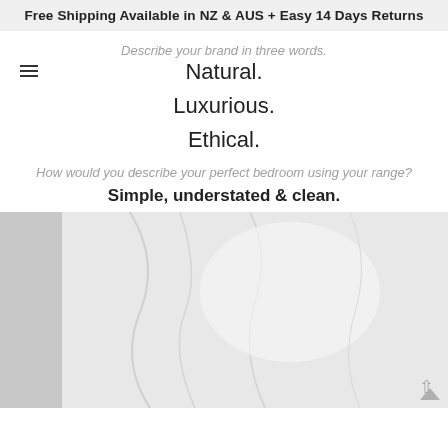Free Shipping Available in NZ & AUS + Easy 14 Days Returns
Describe your brand in three words.
Natural.
Luxurious.
Ethical.
How would you describe your perfect bedroom using your range?
Simple, understated & clean.
[Figure (photo): White linen fabric or bedding draped softly, bright and minimal bedroom aesthetic]